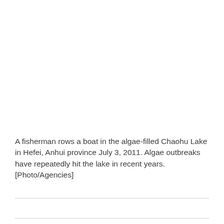A fisherman rows a boat in the algae-filled Chaohu Lake in Hefei, Anhui province July 3, 2011. Algae outbreaks have repeatedly hit the lake in recent years. [Photo/Agencies]